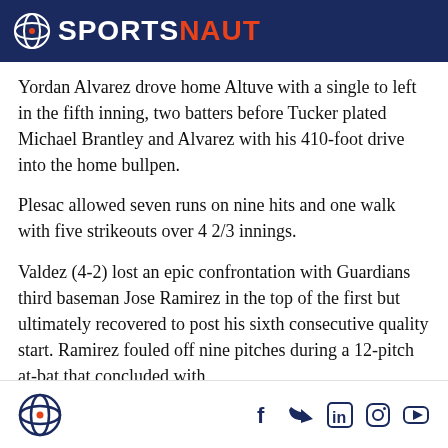SPORTSNAUT
Yordan Alvarez drove home Altuve with a single to left in the fifth inning, two batters before Tucker plated Michael Brantley and Alvarez with his 410-foot drive into the home bullpen.
Plesac allowed seven runs on nine hits and one walk with five strikeouts over 4 2/3 innings.
Valdez (4-2) lost an epic confrontation with Guardians third baseman Jose Ramirez in the top of the first but ultimately recovered to post his sixth consecutive quality start. Ramirez fouled off nine pitches during a 12-pitch at-bat that concluded with
Sportsnaut logo and social media icons: Facebook, Twitter, LinkedIn, Instagram, YouTube